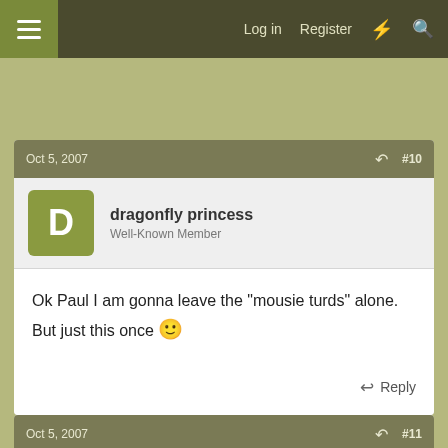Log in  Register
Oct 5, 2007  #10
dragonfly princess
Well-Known Member
Ok Paul I am gonna leave the "mousie turds" alone. But just this once 🙂
Oct 5, 2007  #11
Soapmaker Man
Well-Known Member